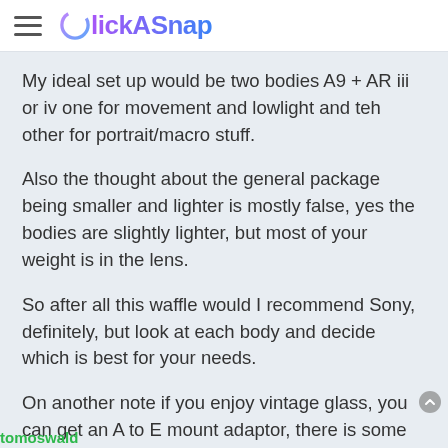ClickASnap
My ideal set up would be two bodies A9 + AR iii or iv one for movement and lowlight and teh other for portrait/macro stuff.
Also the thought about the general package being smaller and lighter is mostly false, yes the bodies are slightly lighter, but most of your weight is in the lens.
So after all this waffle would I recommend Sony, definitely, but look at each body and decide which is best for your needs.
On another note if you enjoy vintage glass, you can get an A to E mount adaptor, there is some good Minolta lens for very reasonable prices.
tomoswald